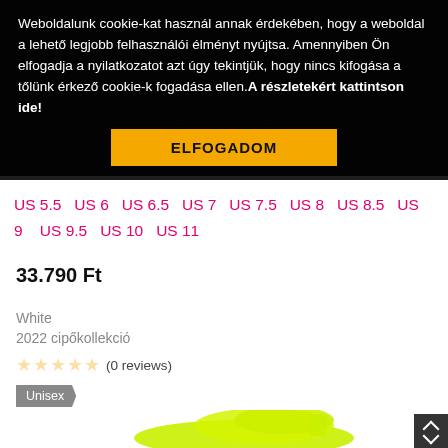Weboldalunk cookie-kat használ annak érdekében, hogy a weboldal a lehető legjobb felhasználói élményt nyújtsa. Amennyiben Ön elfogadja a nyilatkozatot azt úgy tekintjük, hogy nincs kifogása a tőlünk érkező cookie-k fogadása ellen. A részletekért kattintson ide!
ELFOGADOM
Zumba Air Funk
US 5.5   US 6   US 6.5   US 7   US 7.5   US 8   US 8.5   US 9   US 9.5   US 10   US 11
33.790 Ft
White
2022 cipőkollekció
☆☆☆☆☆ (0 reviews)
Unisex
[Figure (photo): Lime/neon yellow Zumba Air Funk sneaker shoe, partially visible at bottom of page]